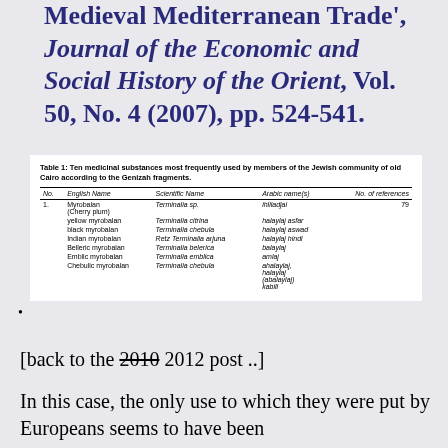Medieval Mediterranean Trade', Journal of the Economic and Social History of the Orient, Vol. 50, No. 4 (2007), pp. 524-541.
| No. | English Name | Scientific Name | Arabic name(s) | No. of references |
| --- | --- | --- | --- | --- |
| 1. | Myrobalan (Cherry plum) | Terminalia sp. | ihliladjai | 79 |
|  | yellow myrobalan | Terminalia citrina | halaylaj asfar |  |
|  | black myrobalan | Terminalia chebula | halaylaj aswad |  |
|  | Indian myrobalan | Retz Terminalia arjuna | halaylaj hindi |  |
|  | Belleric myrobalan | Terminalia belerica | balaylaj |  |
|  | Emblic myrobalan | Terminalia emblica | amlaj |  |
|  | Chebulic myrobalan | Terminalia chebula | ahalaylaj, halaylaj (abalaylaj) kabili |  |
[back to the 2010 2012 post ..]
In this case, the only use to which they were put by Europeans seems to have been